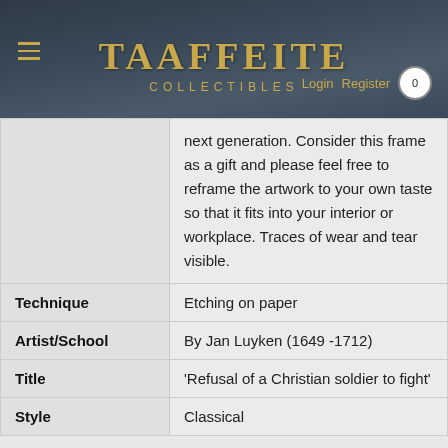TAAFFEITE COLLECTIBLES
| Field | Value |
| --- | --- |
|  | next generation. Consider this frame as a gift and please feel free to reframe the artwork to your own taste so that it fits into your interior or workplace. Traces of wear and tear visible. |
| Technique | Etching on paper |
| Artist/School | By Jan Luyken (1649 -1712) |
| Title | 'Refusal of a Christian soldier to fight' |
| Style | Classical |